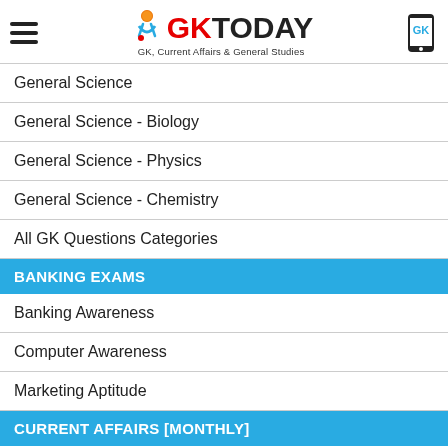GK TODAY — GK, Current Affairs & General Studies
General Science
General Science - Biology
General Science - Physics
General Science - Chemistry
All GK Questions Categories
BANKING EXAMS
Banking Awareness
Computer Awareness
Marketing Aptitude
CURRENT AFFAIRS [MONTHLY]
Current Affairs - August, 2022
Current Affairs - July, 2022
Current Affairs - June, 2022